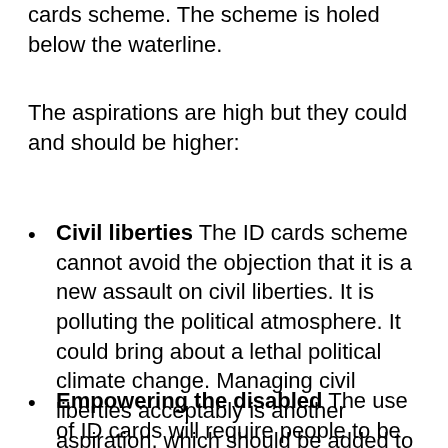cards scheme. The scheme is holed below the waterline.
The aspirations are high but they could and should be higher:
Civil liberties The ID cards scheme cannot avoid the objection that it is a new assault on civil liberties. It is polluting the political atmosphere. It could bring about a lethal political climate change. Managing civil liberties acceptably is another aspiration, which should be added to the specification of any new ID voucher scheme.
Empowering the disabled The use of ID cards will require people to be able to manipulate them